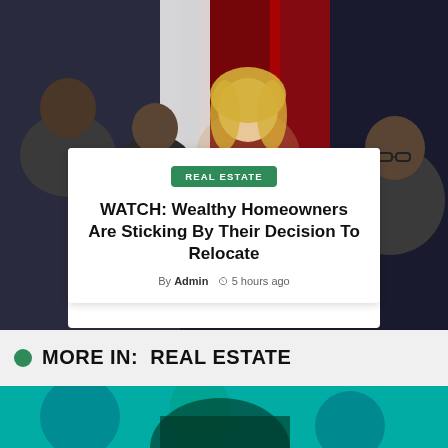[Figure (photo): Panel discussion or news show with multiple people seated, including a blonde woman in center and men to her sides, with a red and white background. Dark studio setting.]
REAL ESTATE
WATCH: Wealthy Homeowners Are Sticking By Their Decision To Relocate
By Admin  5 hours ago
MORE IN:  REAL ESTATE
[Figure (photo): Partial bottom strip showing a teal/green toned image, appears to be a partial view of another article's thumbnail.]